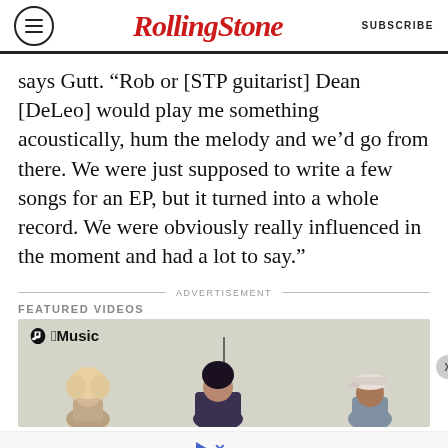RollingStone | SUBSCRIBE
says Gutt. “Rob or [STP guitarist] Dean [DeLeo] would play me something acoustically, hum the melody and we’d go from there. We were just supposed to write a few songs for an EP, but it turned into a whole record. We were obviously really influenced in the moment and had a lot to say.”
ADVERTISEMENT
FEATURED VIDEOS
[Figure (screenshot): Apple Music video thumbnail showing three people on a light gray background, with a vertical dark line element in the center.]